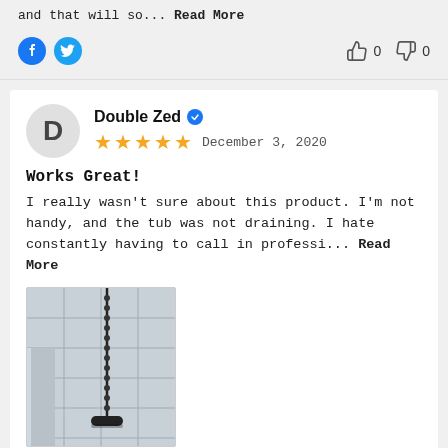and that will so... Read More
👍 0  👎 0
Double Zed ✔  December 3, 2020
Works Great!
I really wasn't sure about this product. I'm not handy, and the tub was not draining. I hate constantly having to call in professi... Read More
[Figure (photo): Photo of a bathtub drain tool/snake hanging on a tiled wall, attached by a cable]